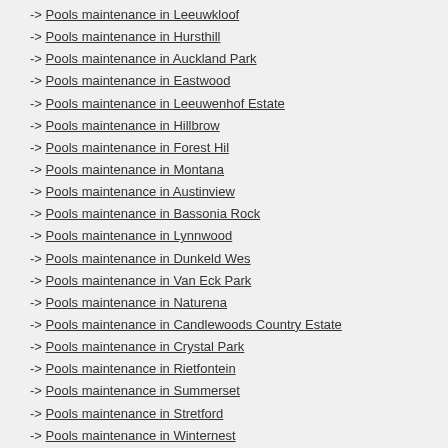-> Pools maintenance in Leeuwkloof
-> Pools maintenance in Hursthill
-> Pools maintenance in Auckland Park
-> Pools maintenance in Eastwood
-> Pools maintenance in Leeuwenhof Estate
-> Pools maintenance in Hillbrow
-> Pools maintenance in Forest Hil
-> Pools maintenance in Montana
-> Pools maintenance in Austinview
-> Pools maintenance in Bassonia Rock
-> Pools maintenance in Lynnwood
-> Pools maintenance in Dunkeld Wes
-> Pools maintenance in Van Eck Park
-> Pools maintenance in Naturena
-> Pools maintenance in Candlewoods Country Estate
-> Pools maintenance in Crystal Park
-> Pools maintenance in Rietfontein
-> Pools maintenance in Summerset
-> Pools maintenance in Stretford
-> Pools maintenance in Winternest
-> Pools maintenance in Staatsdorp
-> Pools maintenance in Knoppieslaagte
-> Pools maintenance in Whitney Gardens